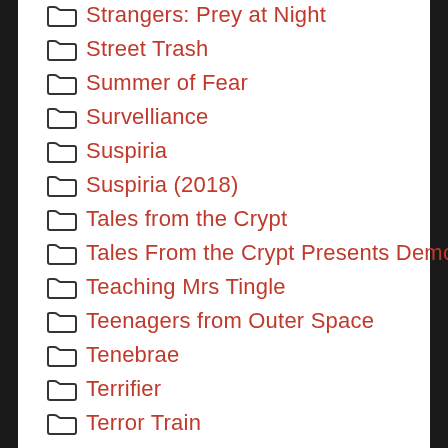Strangers: Prey at Night
Street Trash
Summer of Fear
Survelliance
Suspiria
Suspiria (2018)
Tales from the Crypt
Tales From the Crypt Presents Demon Knight
Teaching Mrs Tingle
Teenagers from Outer Space
Tenebrae
Terrifier
Terror Train
Texas Chainsaw Massacre
Texas Chainsaw Massacre (2003)
Texas Chainsaw Massacre 2